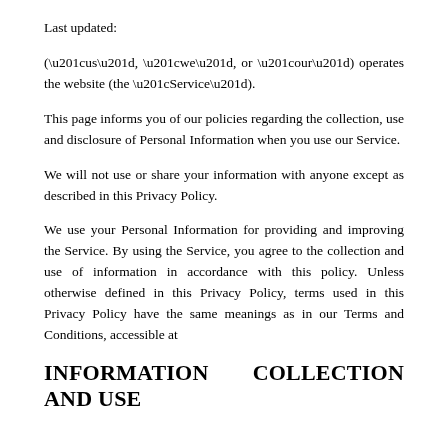Last updated:
(“us”, “we”, or “our”) operates the website (the “Service”).
This page informs you of our policies regarding the collection, use and disclosure of Personal Information when you use our Service.
We will not use or share your information with anyone except as described in this Privacy Policy.
We use your Personal Information for providing and improving the Service. By using the Service, you agree to the collection and use of information in accordance with this policy. Unless otherwise defined in this Privacy Policy, terms used in this Privacy Policy have the same meanings as in our Terms and Conditions, accessible at
INFORMATION COLLECTION AND USE